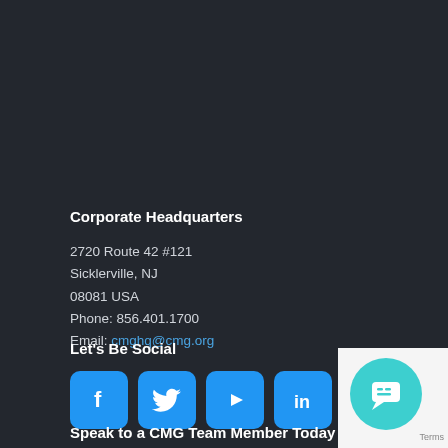Corporate Headquarters
2720 Route 42 #121
Sicklerville, NJ
08081 USA
Phone: 856.401.1700
Email: cmghq@cmg.org
Let's Be Social
[Figure (illustration): Four social media icon buttons: Facebook (f), Twitter (bird), YouTube (play triangle), LinkedIn (in), all with blue rounded square backgrounds]
[Figure (illustration): Chat widget bubble in teal/cyan circle with speech bubble icon, partial view at bottom-right corner with 'Terms' text]
Speak to a CMG Team Member Today